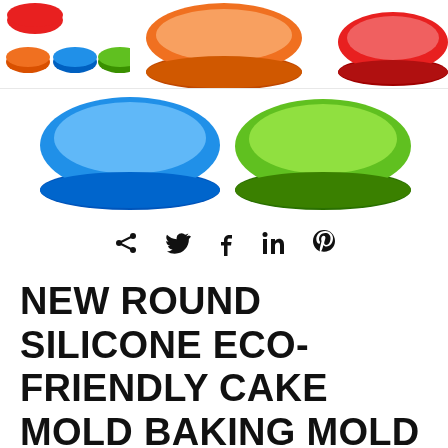[Figure (photo): Product images of colorful round silicone cake molds in orange, blue, green, and red colors. Top section shows thumbnail row with small orange, blue, green bowls on left, large orange bowl in center, large red bowl on right. Bottom section shows large blue bowl on left and large green bowl on right.]
[Figure (infographic): Social media share icons: share, Twitter, Facebook, LinkedIn, Pinterest]
NEW ROUND SILICONE ECO-FRIENDLY CAKE MOLD BAKING MOLD